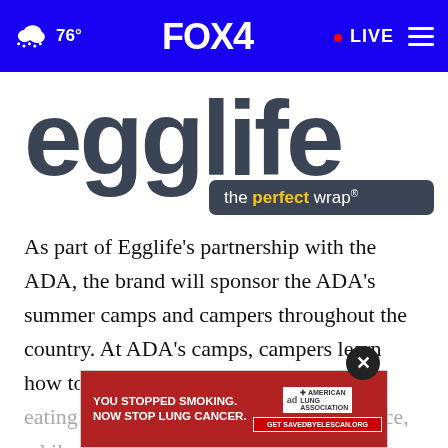76° FOX4 · LIVE
[Figure (logo): Egglife 'the perfect wrap' logo — large dark grey letters 'egglife' with a dark rounded-rectangle badge reading 'the perfect wrap®' in white and yellow text]
As part of Egglife's partnership with the ADA, the brand will sponsor the ADA's summer camps and campers throughout the country. At ADA's camps, campers learn how to choose foods that work with their eating plans to improve their independence, while maintaining traditional...
[Figure (screenshot): Advertisement overlay: American Lung Association ad on red background reading 'YOU STOPPED SMOKING. NOW STOP LUNG CANCER.' with Get SAVEDBYELESCAN.ORG call-to-action button, with a close (×) button]